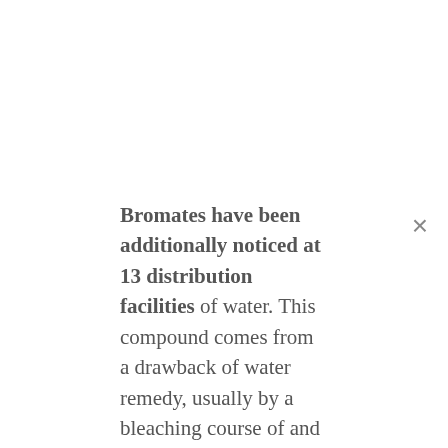Bromates have been additionally noticed at 13 distribution facilities of water. This compound comes from a drawback of water remedy, usually by a bleaching course of and primarily considerations rural municipalities within the Channel and the south of Cherbourg.
The presence of these two merchandise within the portions detected shouldn't be not harmful for well being however the UFC Que Choisir would really like to see them disappear from the analyzes for an irreproachable water sooner or later. In